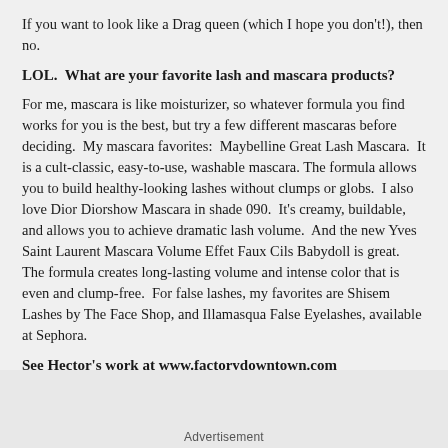If you want to look like a Drag queen (which I hope you don't!), then no.
LOL.  What are your favorite lash and mascara products?
For me, mascara is like moisturizer, so whatever formula you find works for you is the best, but try a few different mascaras before deciding.  My mascara favorites:  Maybelline Great Lash Mascara.  It is a cult-classic, easy-to-use, washable mascara. The formula allows you to build healthy-looking lashes without clumps or globs.  I also love Dior Diorshow Mascara in shade 090.  It's creamy, buildable, and allows you to achieve dramatic lash volume.  And the new Yves Saint Laurent Mascara Volume Effet Faux Cils Babydoll is great.  The formula creates long-lasting volume and intense color that is even and clump-free.  For false lashes, my favorites are Shisem Lashes by The Face Shop, and Illamasqua False Eyelashes, available at Sephora.
See Hector's work at www.factorydowntown.com
Advertisement